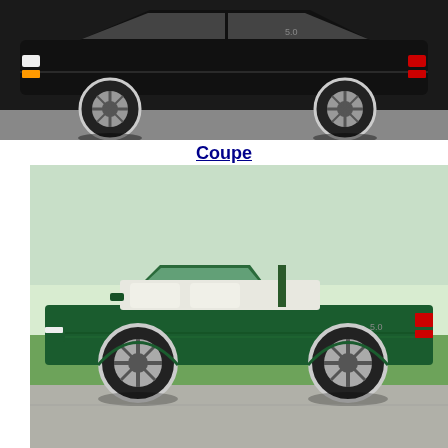[Figure (photo): Side view of a black 1990 Ford Mustang coupe with chrome wheels on a flat surface]
Coupe
[Figure (photo): Side view of a deep emerald green 1990 Ford Mustang convertible with white interior and GT wheels, parked on a driveway]
Convertible
The 1990 model year followed the 1989 production year with the same three body styles (coupe, hatchback, and convertible), two main option styles (LX or GT), and two main engine options (2.3L I4 or 5.0L V8). A popular LX upgrade was the 5.0L engine which included the GT suspension and dual exhaust. Late in the model year, Deep Emerald Green exterior paint was available exclusively with the 5.0L V8, white interior, and GT wheels. Most 1990 cars (as did most 1989 models before them) received a 25 anniversary tri-bar pony dash emblem. Mandatory driver-side airbag and motorized shoulder belts made its debut in 1990. This was also the last year of the ASC McLaren Mustang convertible modification which first debut in production quantities in